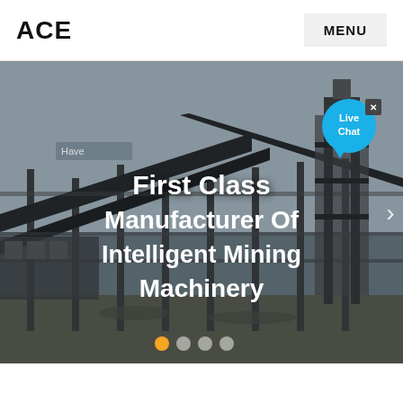ACE   MENU
[Figure (photo): Industrial mining facility with conveyor belts, steel structures, and heavy machinery infrastructure against a grey sky background.]
First Class Manufacturer Of Intelligent Mining Machinery